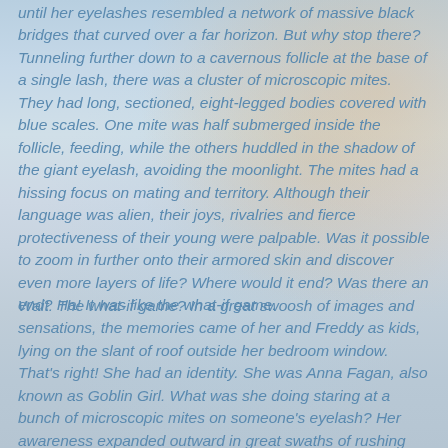until her eyelashes resembled a network of massive black bridges that curved over a far horizon. But why stop there? Tunneling further down to a cavernous follicle at the base of a single lash, there was a cluster of microscopic mites. They had long, sectioned, eight-legged bodies covered with blue scales. One mite was half submerged inside the follicle, feeding, while the others huddled in the shadow of the giant eyelash, avoiding the moonlight. The mites had a hissing focus on mating and territory. Although their language was alien, their joys, rivalries and fierce protectiveness of their young were palpable. Was it possible to zoom in further onto their armored skin and discover even more layers of life? Where would it end? Was there an end? Ha! It was like the what-if game.
Wait. The what-if game? In a great swoosh of images and sensations, the memories came of her and Freddy as kids, lying on the slant of roof outside her bedroom window. That's right! She had an identity. She was Anna Fagan, also known as Goblin Girl. What was she doing staring at a bunch of microscopic mites on someone's eyelash? Her awareness expanded outward in great swaths of rushing